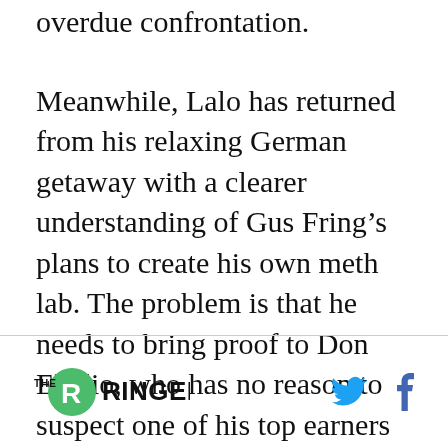overdue confrontation.
Meanwhile, Lalo has returned from his relaxing German getaway with a clearer understanding of Gus Fring’s plans to create his own meth lab. The problem is that he needs to bring proof to Don Eladio, who has no reason to suspect one of his top earners of any wrongdoing. So Lalo spies on Fring’s laundromat business from a drainage grate, hunkered down in the Albuquerque sewer system like he’s Pennywise the Clown. We can say this for Lalo: The dude is committed.
The Ringer logo with social icons